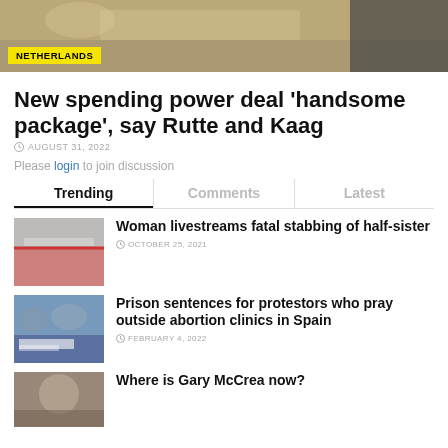[Figure (photo): Hero image showing a blurred indoor scene, with a yellow NETHERLANDS badge overlay]
New spending power deal 'handsome package', say Rutte and Kaag
AUGUST 31, 2022
Please login to join discussion
Trending | Comments | Latest (tab navigation)
[Figure (photo): Thumbnail image for stabbing article — police tape scene]
Woman livestreams fatal stabbing of half-sister
OCTOBER 25, 2021
[Figure (photo): Thumbnail image for abortion clinics protest article — protest crowd with banners]
Prison sentences for protestors who pray outside abortion clinics in Spain
FEBRUARY 4, 2022
[Figure (photo): Thumbnail image for Gary McCrea article]
Where is Gary McCrea now?